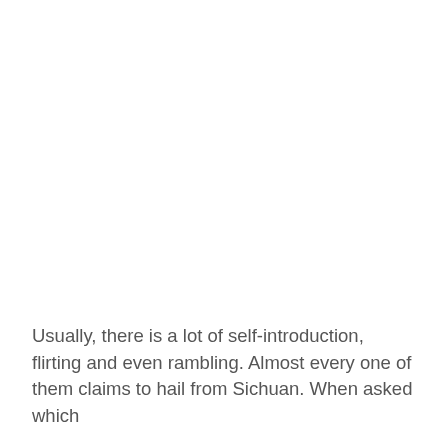Usually, there is a lot of self-introduction, flirting and even rambling. Almost every one of them claims to hail from Sichuan. When asked which